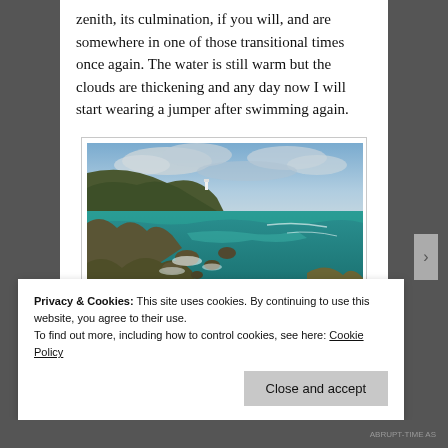zenith, its culmination, if you will, and are somewhere in one of those transitional times once again. The water is still warm but the clouds are thickening and any day now I will start wearing a jumper after swimming again.
[Figure (photo): Coastal landscape with rocky cliffs, teal ocean water, heather and yellow gorse in foreground, lighthouse visible on headland, cloudy sky.]
Privacy & Cookies: This site uses cookies. By continuing to use this website, you agree to their use.
To find out more, including how to control cookies, see here: Cookie Policy
Close and accept
ABRUPT-TIME AS